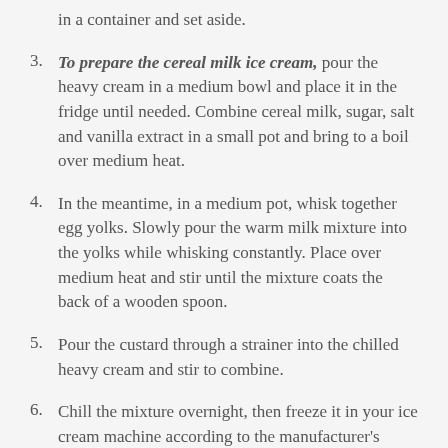in a container and set aside.
3. To prepare the cereal milk ice cream, pour the heavy cream in a medium bowl and place it in the fridge until needed. Combine cereal milk, sugar, salt and vanilla extract in a small pot and bring to a boil over medium heat.
4. In the meantime, in a medium pot, whisk together egg yolks. Slowly pour the warm milk mixture into the yolks while whisking constantly. Place over medium heat and stir until the mixture coats the back of a wooden spoon.
5. Pour the custard through a strainer into the chilled heavy cream and stir to combine.
6. Chill the mixture overnight, then freeze it in your ice cream machine according to the manufacturer's instructions.
7. Serve with the remaining caramelized